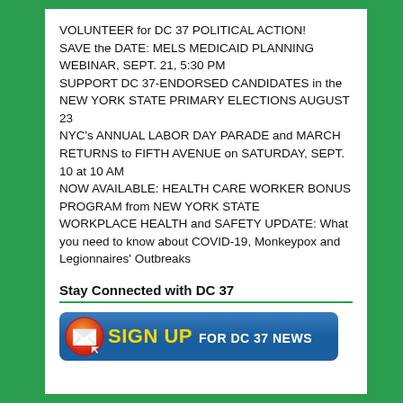VOLUNTEER for DC 37 POLITICAL ACTION!
SAVE the DATE: MELS MEDICAID PLANNING WEBINAR, SEPT. 21, 5:30 PM
SUPPORT DC 37-ENDORSED CANDIDATES in the NEW YORK STATE PRIMARY ELECTIONS AUGUST 23
NYC's ANNUAL LABOR DAY PARADE and MARCH RETURNS to FIFTH AVENUE on SATURDAY, SEPT. 10 at 10 AM
NOW AVAILABLE: HEALTH CARE WORKER BONUS PROGRAM from NEW YORK STATE
WORKPLACE HEALTH and SAFETY UPDATE: What you need to know about COVID-19, Monkeypox and Legionnaires' Outbreaks
Stay Connected with DC 37
[Figure (other): Sign Up for DC 37 News button with envelope icon on blue background]